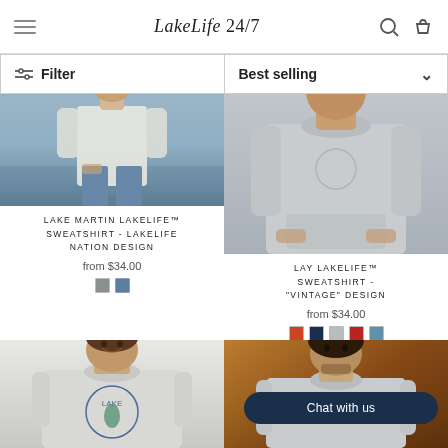LakeLife 24/7
Filter
Best selling
[Figure (photo): Product photo of Lake Martin LakeLife sweatshirt – person standing outdoors near water wearing jeans]
LAKE MARTIN LAKELIFE™ SWEATSHIRT - LAKELIFE NATION DESIGN
from $34.00
[Figure (photo): Product photo of Lay LakeLife sweatshirt – person wearing gray crewneck sweatshirt with hands in pocket]
LAY LAKELIFE™ SWEATSHIRT - "VINTAGE" DESIGN
from $34.00
[Figure (photo): Product photo – man smiling wearing light gray sweatshirt with Lake circular design]
[Figure (photo): Product photo – man wearing gray LakeLife sweatshirt outdoors in autumn foliage, with Chat with us button overlay]
Chat with us